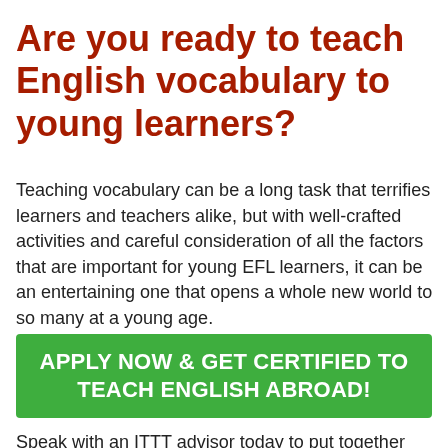Are you ready to teach English vocabulary to young learners?
Teaching vocabulary can be a long task that terrifies learners and teachers alike, but with well-crafted activities and careful consideration of all the factors that are important for young EFL learners, it can be an entertaining one that opens a whole new world to so many at a young age.
APPLY NOW & GET CERTIFIED TO TEACH ENGLISH ABROAD!
Speak with an ITTT advisor today to put together your